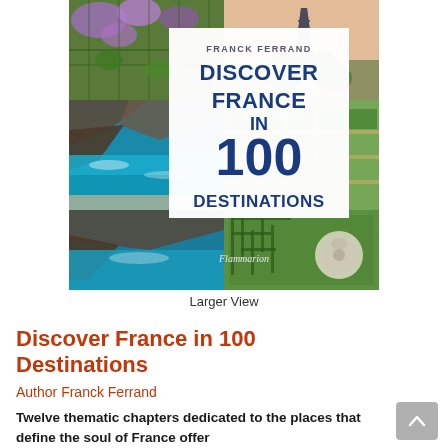[Figure (illustration): Book cover of 'Discover France in 100 Destinations' by Franck Ferrand, published by Flammarion. The cover shows a collage of French landscapes including a coastal scene with turquoise water, gardens with a maze/labyrinth, the Eiffel Tower, and purple wisteria. The title text is displayed prominently in dark blue on a white center panel.]
Larger View
Discover France in 100 Destinations
Author Franck Ferrand
Twelve thematic chapters dedicated to the places that define the soul of France offer